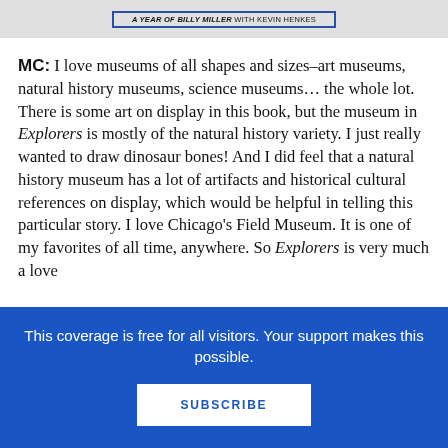[Figure (other): Book banner: 'A YEAR OF BILLY MILLER with Kevin Henkes' in italic bold uppercase text inside a blue border, on a gray background]
MC: I love museums of all shapes and sizes–art museums, natural history museums, science museums… the whole lot. There is some art on display in this book, but the museum in Explorers is mostly of the natural history variety. I just really wanted to draw dinosaur bones! And I did feel that a natural history museum has a lot of artifacts and historical cultural references on display, which would be helpful in telling this particular story. I love Chicago's Field Museum. It is one of my favorites of all time, anywhere. So Explorers is very much a love
This coverage is free for all visitors. Your support makes this possible.
SUBSCRIBE